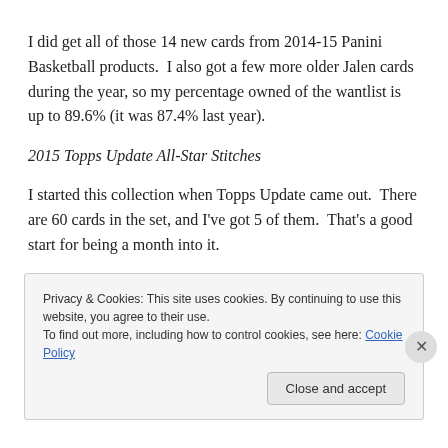I did get all of those 14 new cards from 2014-15 Panini Basketball products.  I also got a few more older Jalen cards during the year, so my percentage owned of the wantlist is up to 89.6% (it was 87.4% last year).
2015 Topps Update All-Star Stitches
I started this collection when Topps Update came out.  There are 60 cards in the set, and I've got 5 of them.  That's a good start for being a month into it.
Privacy & Cookies: This site uses cookies. By continuing to use this website, you agree to their use.
To find out more, including how to control cookies, see here: Cookie Policy